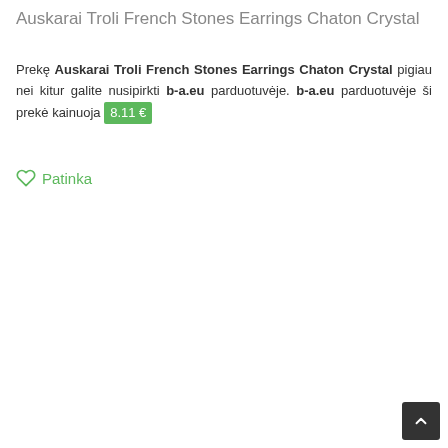Auskarai Troli French Stones Earrings Chaton Crystal
Prekę Auskarai Troli French Stones Earrings Chaton Crystal pigiau nei kitur galite nusipirkti b-a.eu parduotuvėje. b-a.eu parduotuvėješi prekė kainuoja 8.11 €
Patinka